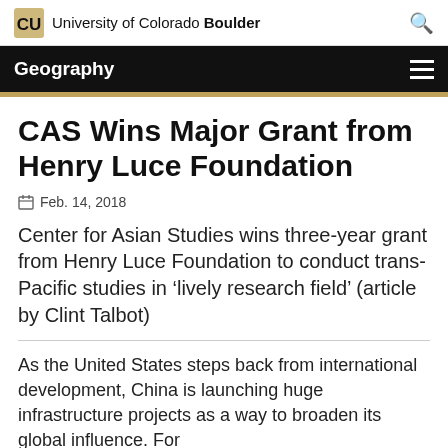University of Colorado Boulder
Geography
CAS Wins Major Grant from Henry Luce Foundation
Feb. 14, 2018
Center for Asian Studies wins three-year grant from Henry Luce Foundation to conduct trans-Pacific studies in ‘lively research field’ (article by Clint Talbot)
As the United States steps back from international development, China is launching huge infrastructure projects as a way to broaden its global influence. For